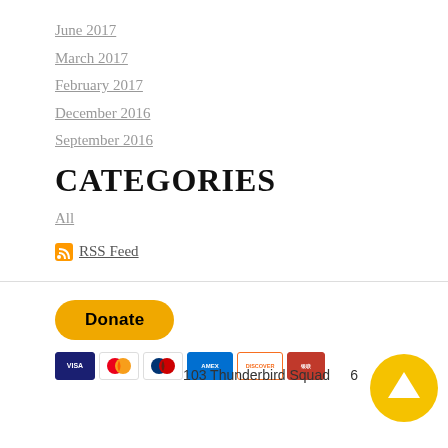June 2017
March 2017
February 2017
December 2016
September 2016
CATEGORIES
All
RSS Feed
[Figure (other): PayPal Donate button with payment card icons (Visa, Mastercard, Maestro, Amex, Discover, UnionPay)]
103 Thunderbird Squad... 6
[Figure (other): Yellow circular scroll-to-top button with upward arrow]